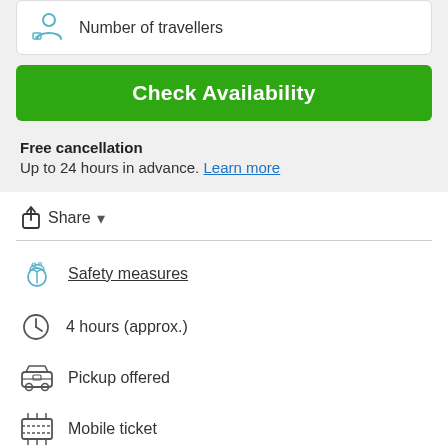Number of travellers
Check Availability
Free cancellation
Up to 24 hours in advance. Learn more
Share
Safety measures
4 hours (approx.)
Pickup offered
Mobile ticket
Offered in: English and 1 more